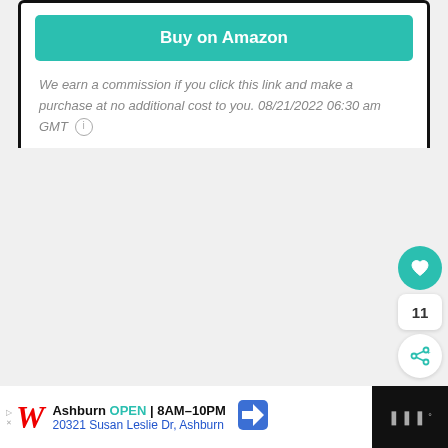[Figure (screenshot): Green 'Buy on Amazon' button inside a white card with black border]
We earn a commission if you click this link and make a purchase at no additional cost to you. 08/21/2022 06:30 am GMT ⓘ
[Figure (screenshot): Floating action buttons on the right: teal heart icon, count '11', and share icon]
[Figure (screenshot): Bottom ad bar showing Walgreens ad: 'Ashburn OPEN | 8AM-10PM, 20321 Susan Leslie Dr, Ashburn' with navigation arrow icon and dark right section with dots icon]